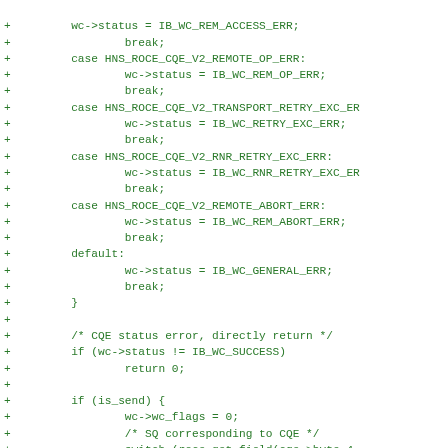Code diff showing switch-case error handling for HNS RoCE CQE V2 status codes, plus CQE status error check and is_send block.